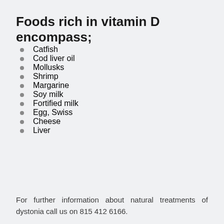Foods rich in vitamin D encompass;
Catfish
Cod liver oil
Mollusks
Shrimp
Margarine
Soy milk
Fortified milk
Egg, Swiss
Cheese
Liver
For further information about natural treatments of dystonia call us on 815 412 6166.